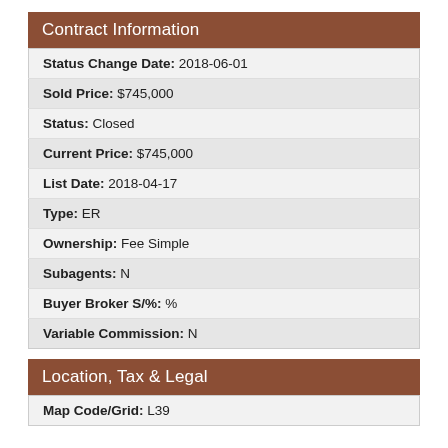Contract Information
| Status Change Date: 2018-06-01 |
| Sold Price: $745,000 |
| Status: Closed |
| Current Price: $745,000 |
| List Date: 2018-04-17 |
| Type: ER |
| Ownership: Fee Simple |
| Subagents: N |
| Buyer Broker S/%: % |
| Variable Commission: N |
Location, Tax & Legal
| Map Code/Grid: L39 |